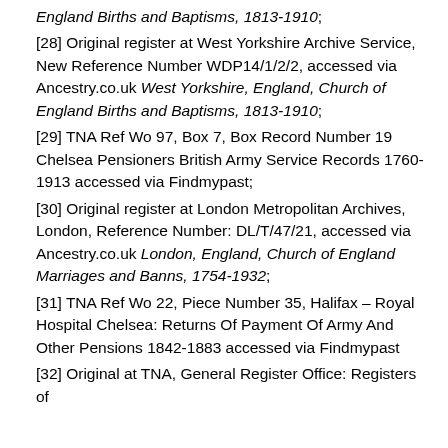England Births and Baptisms, 1813-1910;
[28] Original register at West Yorkshire Archive Service, New Reference Number WDP14/1/2/2, accessed via Ancestry.co.uk West Yorkshire, England, Church of England Births and Baptisms, 1813-1910;
[29] TNA Ref Wo 97, Box 7, Box Record Number 19 Chelsea Pensioners British Army Service Records 1760-1913 accessed via Findmypast;
[30] Original register at London Metropolitan Archives, London, Reference Number: DL/T/47/21, accessed via Ancestry.co.uk London, England, Church of England Marriages and Banns, 1754-1932;
[31] TNA Ref Wo 22, Piece Number 35, Halifax – Royal Hospital Chelsea: Returns Of Payment Of Army And Other Pensions 1842-1883 accessed via Findmypast
[32] Original at TNA, General Register Office: Registers of